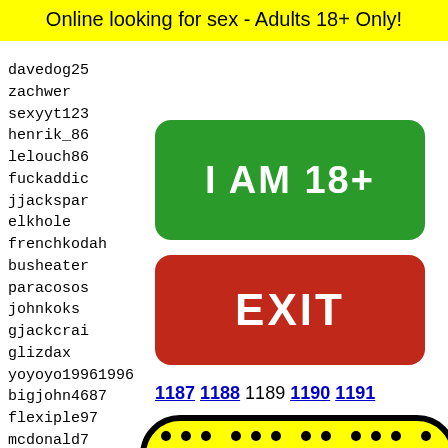Online looking for sex - Adults 18+ Only!
davedog25
zachwer
sexyyt123
henrik_86
lelouch86
fuckaddic
jjackspar
elkhole
frenchkodah
busheater
paracosos
johnkoks
gjackcrais
glizdax
yoyoyo19961996
bigjohn4687
flexiple97
mcdonald7
zared316
moppel79
luckym
ronie9
sexast
jackol
sunnyc
gorx89
[Figure (other): Green button reading I AM 18+]
[Figure (other): Red button reading EXIT]
1187 1188 1189 1190 1191
[Figure (illustration): Yellow rounded rectangle with black border, black dots arranged in a grid pattern at top, and a cartoon face with sunglasses emerging at the bottom]